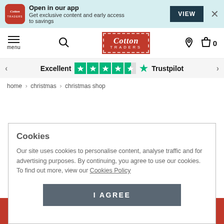Open in our app — Get exclusive content and early access to savings — VIEW
[Figure (logo): Cotton Traders app logo and navigation bar with hamburger menu, search icon, Cotton Traders brand logo, location pin and cart icon showing 0 items]
Excellent ★★★★☆ Trustpilot
home › christmas › christmas shop
Cookies
Our site uses cookies to personalise content, analyse traffic and for advertising purposes. By continuing, you agree to use our cookies. To find out more, view our Cookies Policy
I AGREE